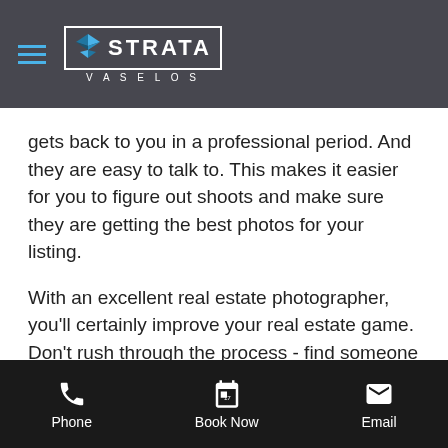[Figure (logo): Strata Vaselos logo with hamburger menu icon on dark overlay nav bar]
gets back to you in a professional period. And they are easy to talk to. This makes it easier for you to figure out shoots and make sure they are getting the best photos for your listing.
With an excellent real estate photographer, you'll certainly improve your real estate game. Don't rush through the process - find someone great who you can see yourself working with long-term. A great working relationship allows you to rest assured knowing that you've got someone who you can call at a moment's notice to take great photos of your newest listing.
Phone | Book Now | Email